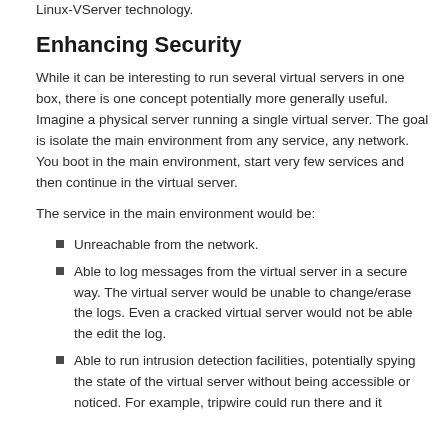Linux-VServer technology.
Enhancing Security
While it can be interesting to run several virtual servers in one box, there is one concept potentially more generally useful. Imagine a physical server running a single virtual server. The goal is isolate the main environment from any service, any network. You boot in the main environment, start very few services and then continue in the virtual server.
The service in the main environment would be:
Unreachable from the network.
Able to log messages from the virtual server in a secure way. The virtual server would be unable to change/erase the logs. Even a cracked virtual server would not be able the edit the log.
Able to run intrusion detection facilities, potentially spying the state of the virtual server without being accessible or noticed. For example, tripwire could run there and it